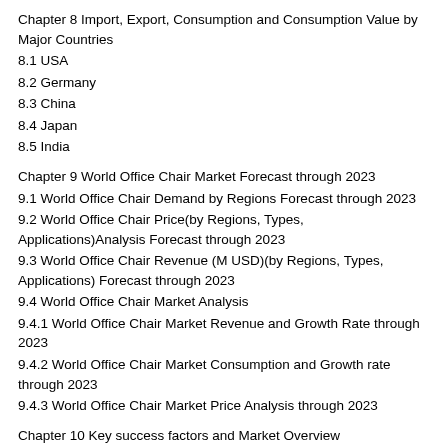Chapter 8 Import, Export, Consumption and Consumption Value by Major Countries
8.1 USA
8.2 Germany
8.3 China
8.4 Japan
8.5 India
Chapter 9 World Office Chair Market Forecast through 2023
9.1 World Office Chair Demand by Regions Forecast through 2023
9.2 World Office Chair Price(by Regions, Types, Applications)Analysis Forecast through 2023
9.3 World Office Chair Revenue (M USD)(by Regions, Types, Applications) Forecast through 2023
9.4 World Office Chair Market Analysis
9.4.1 World Office Chair Market Revenue and Growth Rate through 2023
9.4.2 World Office Chair Market Consumption and Growth rate through 2023
9.4.3 World Office Chair Market Price Analysis through 2023
Chapter 10 Key success factors and Market Overview
Tables and figures
Table Main Market Activities by Regions
Table Market Revenue (M USD) and Growth Rate 2013-2018
Table Major Players Revenue (M USD) in 2018
Table Market Revenue (M USD) and Growth Rate 2013-2018